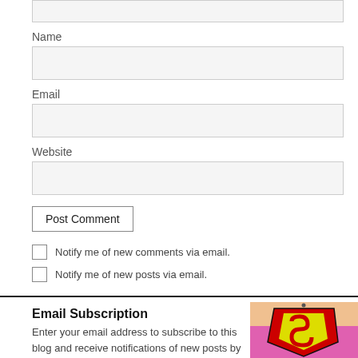[Input box - top, partially visible]
Name
[Name input field]
Email
[Email input field]
Website
[Website input field]
Post Comment
Notify me of new comments via email.
Notify me of new posts via email.
Email Subscription
Enter your email address to subscribe to this blog and receive notifications of new posts by email.
[Figure (illustration): Superman logo illustration showing the iconic S shield on a pink/purple costume with skin-colored background]